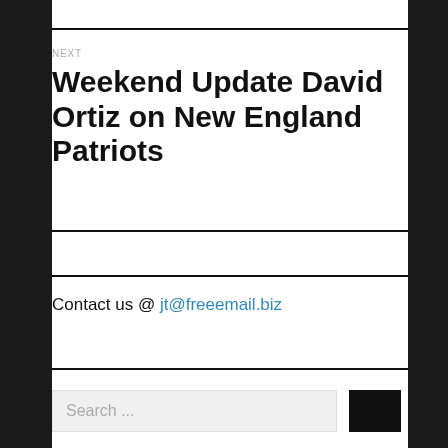NEXT
Weekend Update David Ortiz on New England Patriots
Contact us @ jt@freeemail.biz
Search ...